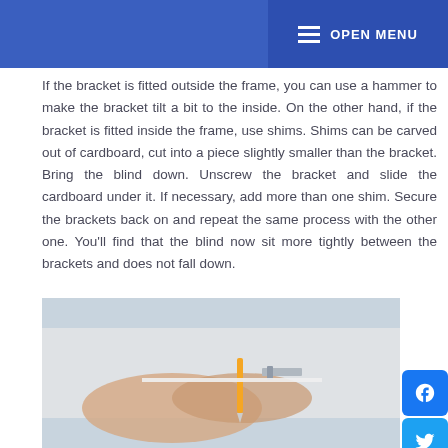OPEN MENU
If the bracket is fitted outside the frame, you can use a hammer to make the bracket tilt a bit to the inside. On the other hand, if the bracket is fitted inside the frame, use shims. Shims can be carved out of cardboard, cut into a piece slightly smaller than the bracket. Bring the blind down. Unscrew the bracket and slide the cardboard under it. If necessary, add more than one shim. Secure the brackets back on and repeat the same process with the other one. You'll find that the blind now sit more tightly between the brackets and does not fall down.
[Figure (photo): A person's hands working on installing or adjusting a window blind bracket, with a screwdriver visible]